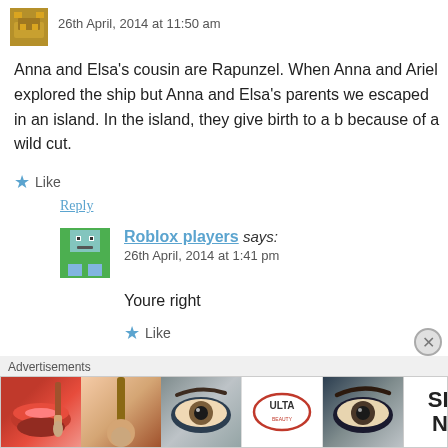26th April, 2014 at 11:50 am
Anna and Elsa’s cousin are Rapunzel. When Anna and Ariel explored the ship but Anna and Elsa’s parents we escaped in an island. In the island, they give birth to a b because of a wild cut.
★ Like
Reply
Roblox players says:
26th April, 2014 at 1:41 pm
Youre right
★ Like
Advertisements